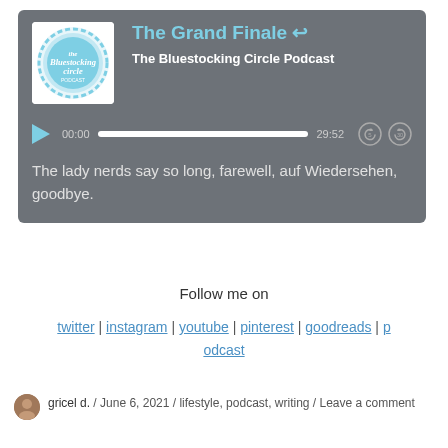[Figure (screenshot): Podcast player widget with Bluestocking Circle logo, title 'The Grand Finale', subtitle 'The Bluestocking Circle Podcast', playback controls showing 00:00 / 29:52, and description text 'The lady nerds say so long, farewell, auf Wiedersehen, goodbye.']
Follow me on
twitter | instagram | youtube | pinterest | goodreads | podcast
gricel d.  /  June 6, 2021  /  lifestyle, podcast, writing  /  Leave a comment